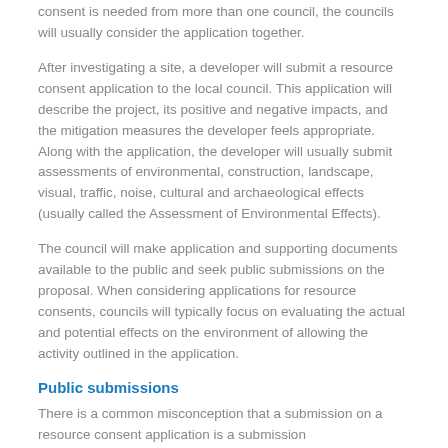consent is needed from more than one council, the councils will usually consider the application together.
After investigating a site, a developer will submit a resource consent application to the local council. This application will describe the project, its positive and negative impacts, and the mitigation measures the developer feels appropriate. Along with the application, the developer will usually submit assessments of environmental, construction, landscape, visual, traffic, noise, cultural and archaeological effects (usually called the Assessment of Environmental Effects).
The council will make application and supporting documents available to the public and seek public submissions on the proposal. When considering applications for resource consents, councils will typically focus on evaluating the actual and potential effects on the environment of allowing the activity outlined in the application.
Public submissions
There is a common misconception that a submission on a resource consent application is a submission